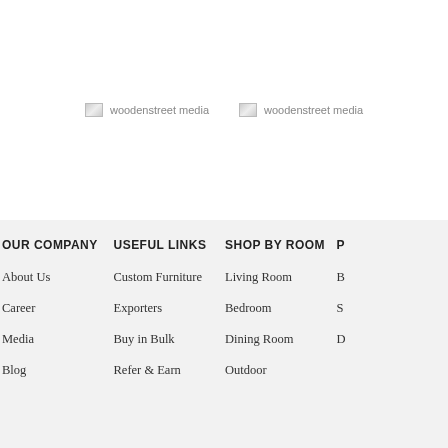[Figure (photo): woodenstreet media placeholder image (left)]
[Figure (photo): woodenstreet media placeholder image (right)]
OUR COMPANY
USEFUL LINKS
SHOP BY ROOM
About Us
Career
Media
Blog
Custom Furniture
Exporters
Buy in Bulk
Refer & Earn
Living Room
Bedroom
Dining Room
Outdoor